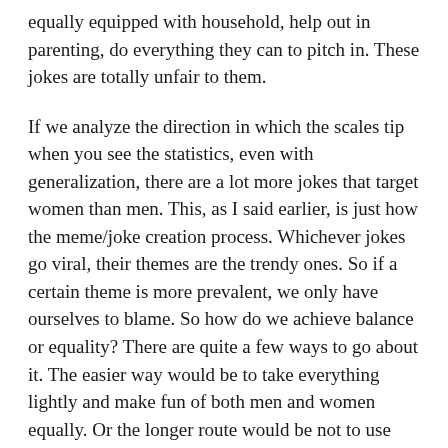equally equipped with household, help out in parenting, do everything they can to pitch in. These jokes are totally unfair to them.
If we analyze the direction in which the scales tip when you see the statistics, even with generalization, there are a lot more jokes that target women than men. This, as I said earlier, is just how the meme/joke creation process. Whichever jokes go viral, their themes are the trendy ones. So if a certain theme is more prevalent, we only have ourselves to blame. So how do we achieve balance or equality? There are quite a few ways to go about it. The easier way would be to take everything lightly and make fun of both men and women equally. Or the longer route would be not to use social media as a platform to target any particular faction. Unbiased social media! Well, that’s the dream 🙂
Let’s also look at another way of taking things sportively the strikingly clear fact of an overall theme...